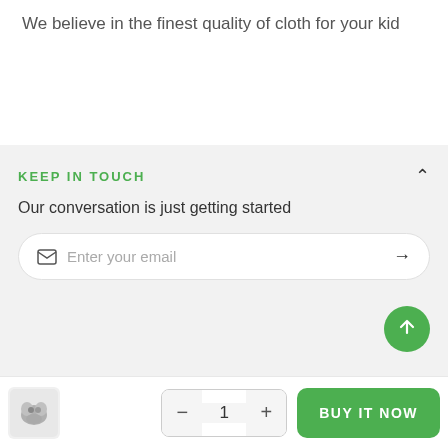We believe in the finest quality of cloth for your kid
KEEP IN TOUCH
Our conversation is just getting started
Enter your email
SOCIAL LINKS
[Figure (other): Product thumbnail image of a children's clothing item]
- 1 +
BUY IT NOW